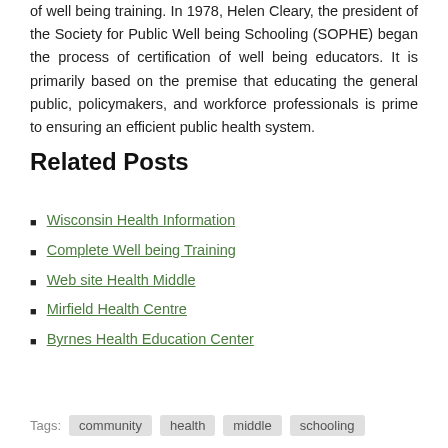of well being training. In 1978, Helen Cleary, the president of the Society for Public Well being Schooling (SOPHE) began the process of certification of well being educators. It is primarily based on the premise that educating the general public, policymakers, and workforce professionals is prime to ensuring an efficient public health system.
Related Posts
Wisconsin Health Information
Complete Well being Training
Web site Health Middle
Mirfield Health Centre
Byrnes Health Education Center
Tags: community health middle schooling